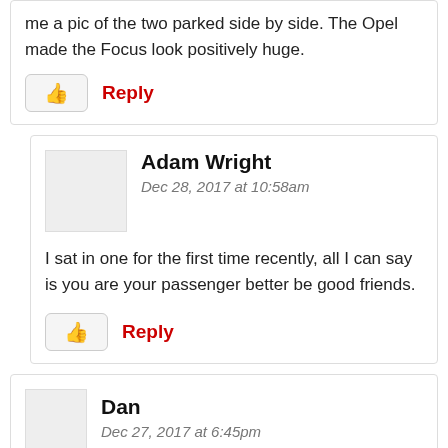me a pic of the two parked side by side. The Opel made the Focus look positively huge.
Reply
Adam Wright
Dec 28, 2017 at 10:58am
I sat in one for the first time recently, all I can say is you are your passenger better be good friends.
Reply
Dan
Dec 27, 2017 at 6:45pm
Field junk! Pay me to clean up my field!